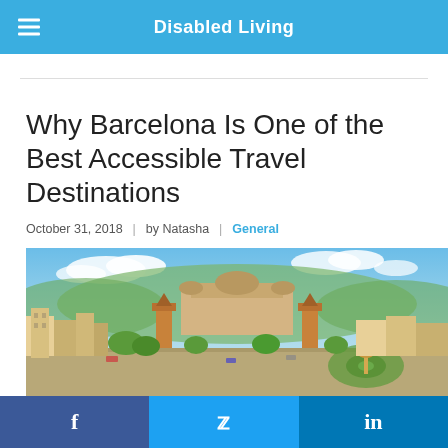Disabled Living
Why Barcelona Is One of the Best Accessible Travel Destinations
October 31, 2018 | by Natasha | General
[Figure (photo): Panoramic aerial view of Barcelona city center showing Plaza de España with Venetian towers, Palau Nacional in the background, and urban cityscape under blue sky with clouds.]
Our latest Story of the Month feature is by Chris Gammiss, Disability
f  Twitter  in